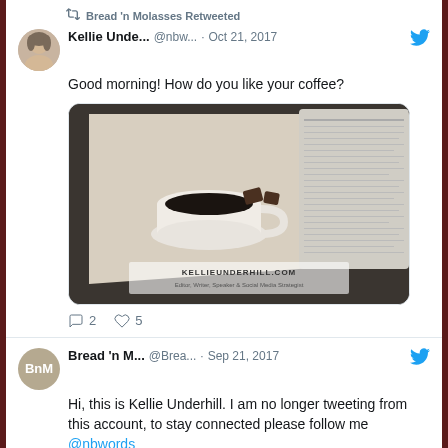Bread 'n Molasses Retweeted
Kellie Unde... @nbw... · Oct 21, 2017
Good morning! How do you like your coffee?
[Figure (photo): Photo of a coffee cup with black coffee on a beige fabric, with chocolate pieces and a newspaper, watermarked KELLIEUNDERHILL.COM - Editor, Writer, Speaker & Social Media Strategist]
2  5
Bread 'n M... @Brea... · Sep 21, 2017
Hi, this is Kellie Underhill. I am no longer tweeting from this account, to stay connected please follow me @nbwords